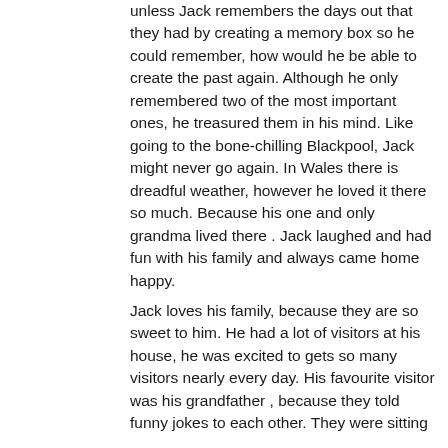unless Jack remembers the days out that they had by creating a memory box so he could remember, how would he be able to create the past again. Although he only remembered two of the most important ones, he treasured them in his mind. Like going to the bone-chilling Blackpool, Jack might never go again. In Wales there is dreadful weather, however he loved it there so much. Because his one and only grandma lived there . Jack laughed and had fun with his family and always came home happy.
Jack loves his family, because they are so sweet to him. He had a lot of visitors at his house, he was excited to gets so many visitors nearly every day. His favourite visitor was his grandfather , because they told funny jokes to each other. They were sitting